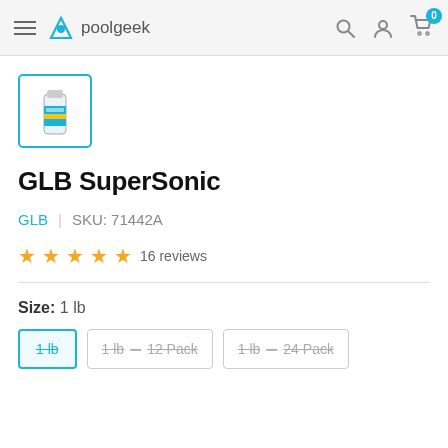poolgeek — navigation header with menu, search, account, and cart icons
[Figure (photo): Product thumbnail of GLB SuperSonic pool chemical product in a blue-bordered selected state]
GLB SuperSonic
GLB | SKU: 71442A
★★★★★ 16 reviews
Size: 1 lb
1 lb  |  1 lb – 12 Pack  |  1 lb – 24 Pack